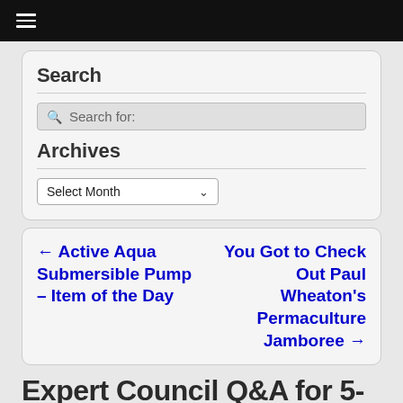Navigation menu
Search
Search for:
Archives
Select Month
← Active Aqua Submersible Pump – Item of the Day
You Got to Check Out Paul Wheaton's Permaculture Jamboree →
Expert Council Q&A for 5-19-22 – Episode – 3097
Posted on May 19, 2022 by Jack Spirko